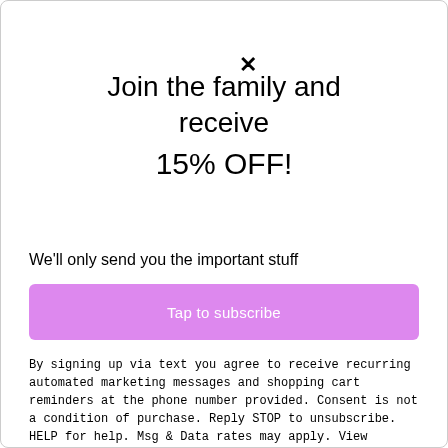Join the family and receive 15% OFF!
We'll only send you the important stuff
Tap to subscribe
By signing up via text you agree to receive recurring automated marketing messages and shopping cart reminders at the phone number provided. Consent is not a condition of purchase. Reply STOP to unsubscribe. HELP for help. Msg & Data rates may apply. View Privacy Policy & ToS